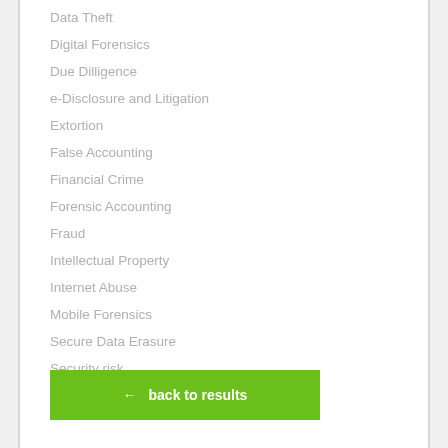Data Theft
Digital Forensics
Due Dilligence
e-Disclosure and Litigation
Extortion
False Accounting
Financial Crime
Forensic Accounting
Fraud
Intellectual Property
Internet Abuse
Mobile Forensics
Secure Data Erasure
Security risk
← back to results